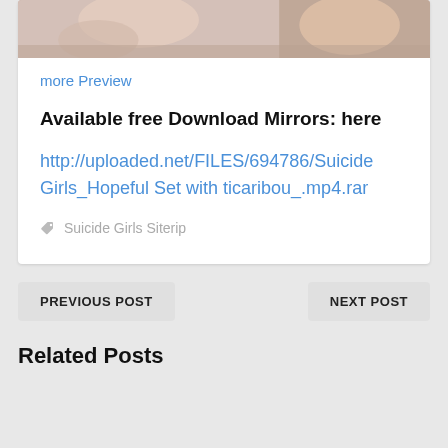[Figure (photo): Partial photo strip showing two people at the top of the card]
more Preview
Available free Download Mirrors: here
http://uploaded.net/FILES/694786/Suicide Girls_Hopeful Set with ticaribou_.mp4.rar
Suicide Girls Siterip
PREVIOUS POST
NEXT POST
Related Posts